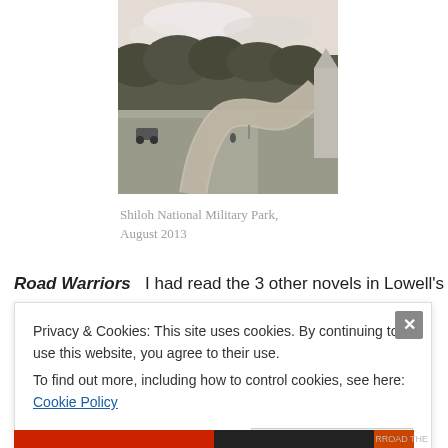[Figure (photo): Black and white photograph of a winding road through Shiloh National Military Park, with large trees lining the path and monument/obelisk visible on the right, taken August 2013.]
Shiloh National Military Park, August 2013
Road Warriors   I had read the 3 other novels in Lowell's
Privacy & Cookies: This site uses cookies. By continuing to use this website, you agree to their use.
To find out more, including how to control cookies, see here: Cookie Policy
Close and accept